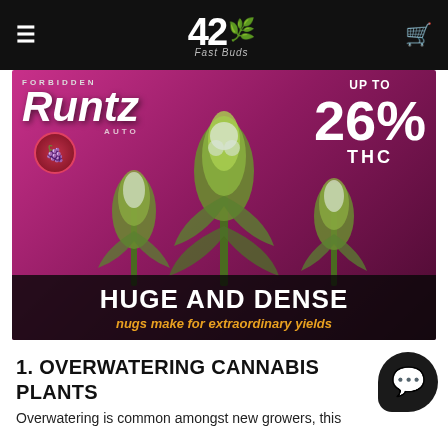42 Fast Buds
[Figure (photo): Forbidden Runtz Auto cannabis advertisement banner showing cannabis plants against a pink/magenta background with text 'UP TO 26% THC' and 'HUGE AND DENSE nugs make for extraordinary yields']
1. OVERWATERING CANNABIS PLANTS
Overwatering is common amongst new growers, this